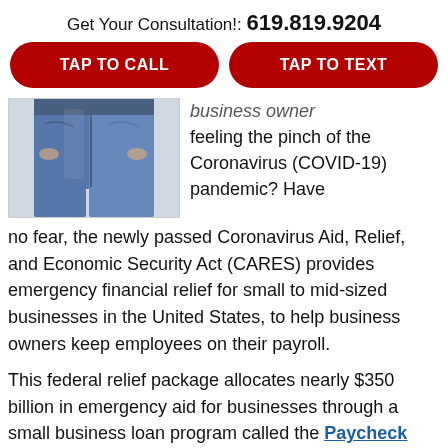Get Your Consultation!: 619.819.9204
TAP TO CALL
TAP TO TEXT
[Figure (photo): Person wearing jeans from waist down, hands in pockets, white background]
business owner feeling the pinch of the Coronavirus (COVID-19) pandemic? Have no fear, the newly passed Coronavirus Aid, Relief, and Economic Security Act (CARES) provides emergency financial relief for small to mid-sized businesses in the United States, to help business owners keep employees on their payroll.
This federal relief package allocates nearly $350 billion in emergency aid for businesses through a small business loan program called the Paycheck Protection Program. This program is separate from existing federal loan programs, including